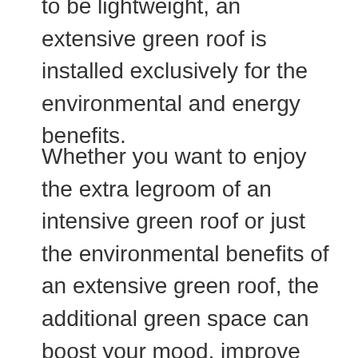to be lightweight, an extensive green roof is installed exclusively for the environmental and energy benefits.
Whether you want to enjoy the extra legroom of an intensive green roof or just the environmental benefits of an extensive green roof, the additional green space can boost your mood, improve your focus, and help you breathe easier. Depending on your home's structure and the climate where you live, an